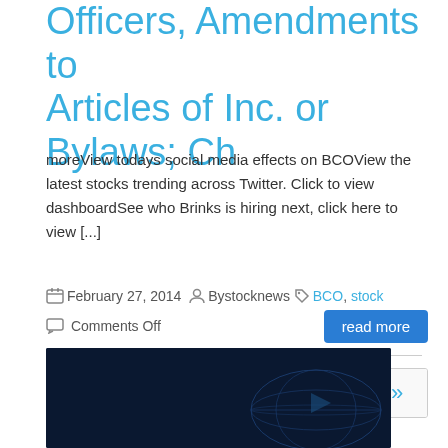Officers, Amendments to Articles of Inc. or Bylaws; Ch
moreView todays social media effects on BCOView the latest stocks trending across Twitter. Click to view dashboardSee who Brinks is hiring next, click here to view [...]
February 27, 2014  Bystocknews  BCO, stock  Comments Off
[Figure (screenshot): Wall Street is Using Social Media — To Predict Stock Moves Ahead of News — banner image with globe graphic]